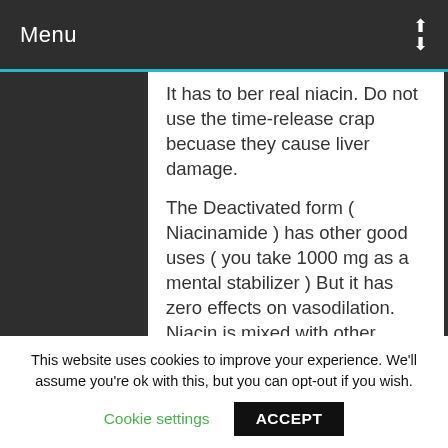Menu
It has to ber real niacin. Do not use the time-release crap becuase they cause liver damage.
The Deactivated form ( Niacinamide ) has other good uses ( you take 1000 mg as a mental stabilizer ) But it has zero effects on vasodilation. Niacin is mixed with other supplements to prevent its flush.
This is a mistake. The Flush has health benefits. The trick is only take a very small amount. How small? I'd
This website uses cookies to improve your experience. We'll assume you're ok with this, but you can opt-out if you wish.
Cookie settings
ACCEPT